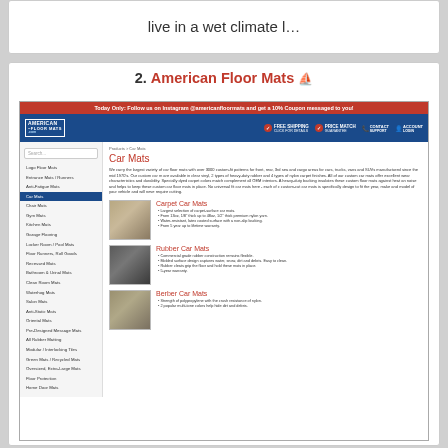live in a wet climate l...
2. American Floor Mats 🔗
[Figure (screenshot): Screenshot of American Floor Mats website showing Car Mats product page with sidebar navigation, red promotional banner, blue navigation bar with logo, and three product listings: Carpet Car Mats, Rubber Car Mats, and Berber Car Mats with bullet point descriptions.]